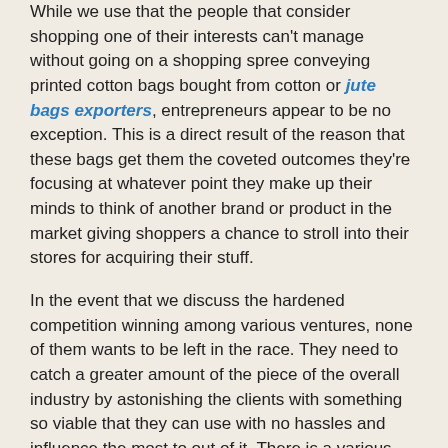While we use that the people that consider shopping one of their interests can't manage without going on a shopping spree conveying printed cotton bags bought from cotton or jute bags exporters, entrepreneurs appear to be no exception. This is a direct result of the reason that these bags get them the coveted outcomes they're focusing at whatever point they make up their minds to think of another brand or product in the market giving shoppers a chance to stroll into their stores for acquiring their stuff.
In the event that we discuss the hardened competition winning among various ventures, none of them wants to be left in the race. They need to catch a greater amount of the piece of the overall industry by astonishing the clients with something so viable that they can use with no hassles and influence the most to out of it. There is a various use of printed cotton bags from wholesale jute bags suppliers, other than shopping and advancing one's brand. A business can value their workers' execution by giving over these bags in fascinating prints. This would give representatives a chance to imagine that the business is truly worried about them and that they need them to perform to the best of their capacity.
At ZestTex we besides our daily product manufacturing, we also make custom bags. As a cotton bags manufacturer and jute bags exporters, it is a duty of every manufacturer to present your brand